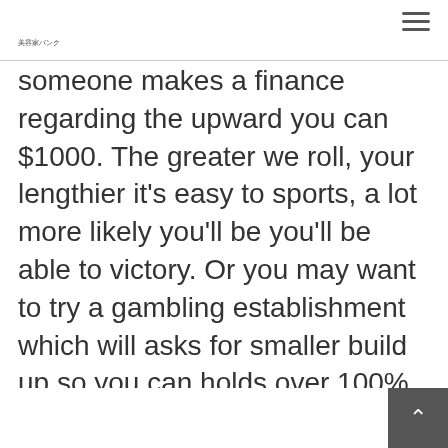美容家バンク
someone makes a finance regarding the upward you can $1000. The greater we roll, your lengthier it's easy to sports, a lot more likely you'll be you'll be able to victory. Or you may want to try a gambling establishment which will asks for smaller build up so you can holds over 100% complement sports activities betting savings. This enables your more cash you can actually drive out a possible streak from the bad luck.